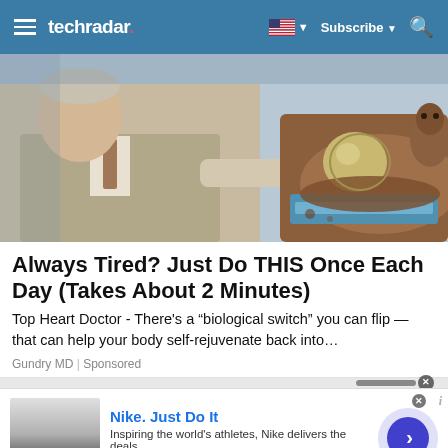techradar | Subscribe | Search
[Figure (photo): A doctor in a suit pointing at a 3D anatomical model showing a cross-section of the human body, with a brown/blue layered structure representing tissues.]
Always Tired? Just Do THIS Once Each Day (Takes About 2 Minutes)
Top Heart Doctor - There's a “biological switch” you can flip — that can help your body self-rejuvenate back into…
Gundry MD | Sponsored
[Figure (screenshot): Nike advertisement banner: Nike. Just Do It. Inspiring the world's athletes, Nike delivers the deals. www.nike.com. With a thumbnail image and a blue arrow button.]